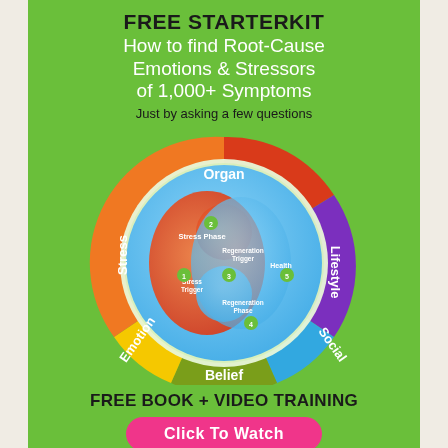FREE STARTERKIT
How to find Root-Cause Emotions & Stressors of 1,000+ Symptoms
Just by asking a few questions
[Figure (infographic): Circular diagram showing a wellness wheel with colored segments labeled: Organ (red, top), Lifestyle (purple, upper right), Social (blue, lower right), Belief (olive/green, bottom), Emotion (yellow, lower left), Stress (orange, upper left). Inside the wheel is a yin-yang style diagram with red Stress Phase area (labeled 1 Stress Trigger, 2 Stress Phase, 3) and blue Regeneration area (labeled 3 Regeneration Trigger, 4 Regeneration Phase, 5 Health). Numbers 1-5 appear as green circles.]
FREE BOOK + VIDEO TRAINING
Click To Watch